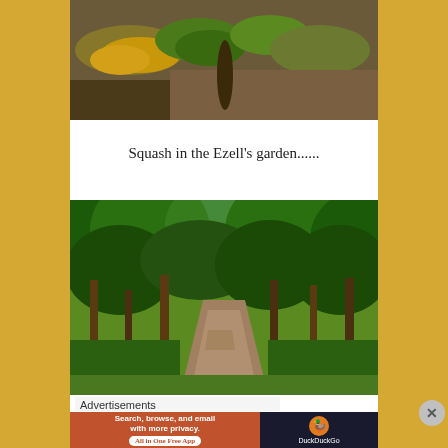[Figure (photo): Close-up photo of squash in a garden, showing yellow squash and green leaves against dark soil]
Squash in the Ezell's garden......
[Figure (photo): A dirt road winding through a lush green forest with trees arching overhead, green grass on the sides]
Advertisements
[Figure (screenshot): DuckDuckGo advertisement banner: 'Search, browse, and email with more privacy. All in One Free App' with DuckDuckGo logo on dark background]